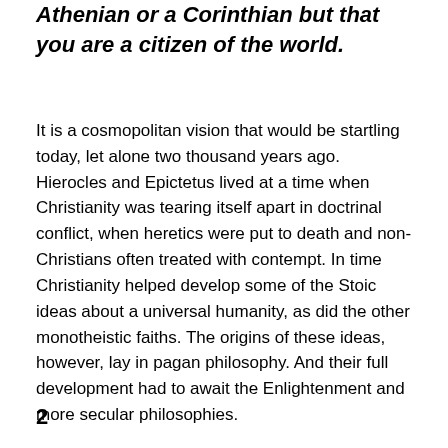Athenian or a Corinthian but that you are a citizen of the world.
It is a cosmopolitan vision that would be startling today, let alone two thousand years ago. Hierocles and Epictetus lived at a time when Christianity was tearing itself apart in doctrinal conflict, when heretics were put to death and non-Christians often treated with contempt. In time Christianity helped develop some of the Stoic ideas about a universal humanity, as did the other monotheistic faiths. The origins of these ideas, however, lay in pagan philosophy. And their full development had to await the Enlightenment and more secular philosophies.
2